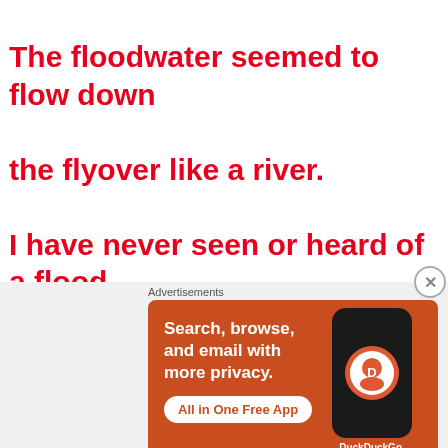The floodwater seemed to flow down the flyover like a river. I have never seen or heard of a flood on a flyover in my whole life!
[Figure (screenshot): DuckDuckGo advertisement banner with orange background showing search, browse, and email privacy messaging and phone mockup]
Advertisements